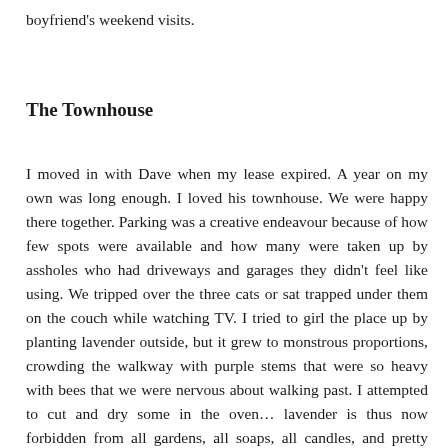boyfriend's weekend visits.
The Townhouse
I moved in with Dave when my lease expired. A year on my own was long enough. I loved his townhouse. We were happy there together. Parking was a creative endeavour because of how few spots were available and how many were taken up by assholes who had driveways and garages they didn't feel like using. We tripped over the three cats or sat trapped under them on the couch while watching TV. I tried to girl the place up by planting lavender outside, but it grew to monstrous proportions, crowding the walkway with purple stems that were so heavy with bees that we were nervous about walking past. I attempted to cut and dry some in the oven... lavender is thus now forbidden from all gardens, all soaps, all candles, and pretty much everything that comes into, or near our